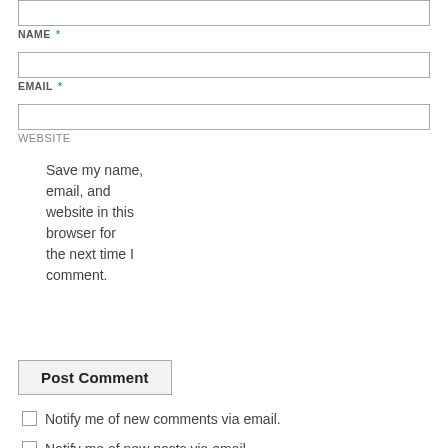NAME *
EMAIL *
WEBSITE
Save my name, email, and website in this browser for the next time I comment.
Post Comment
Notify me of new comments via email.
Notify me of new posts via email.